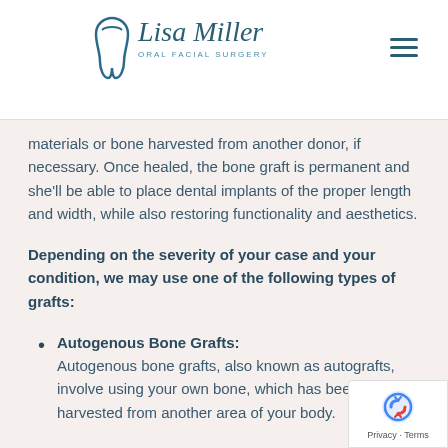Lisa Miller Oral Facial Surgery
materials or bone harvested from another donor, if necessary. Once healed, the bone graft is permanent and she'll be able to place dental implants of the proper length and width, while also restoring functionality and aesthetics.
Depending on the severity of your case and your condition, we may use one of the following types of grafts:
Autogenous Bone Grafts: Autogenous bone grafts, also known as autografts, involve using your own bone, which has been harvested from another area of your body.